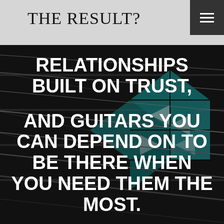THE RESULT?
[Figure (photo): Close-up photograph of guitar strings and fretboard with teal/turquoise geometric inlay pattern, dark background with metallic strings in sharp focus]
RELATIONSHIPS BUILT ON TRUST, AND GUITARS YOU CAN DEPEND ON TO BE THERE WHEN YOU NEED THEM THE MOST.